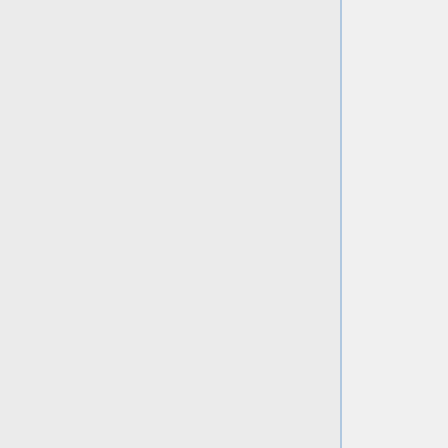* [[wiki:lightning_forum|Lightning Emissions]]
=== Chemistry ===
* [[wiki:chem_forum|NOx-Ox-HC-aerosol-hydrocarbons (aka "full chemistry")]]
* [[wiki:mercury_forum|Mercury simulation]]